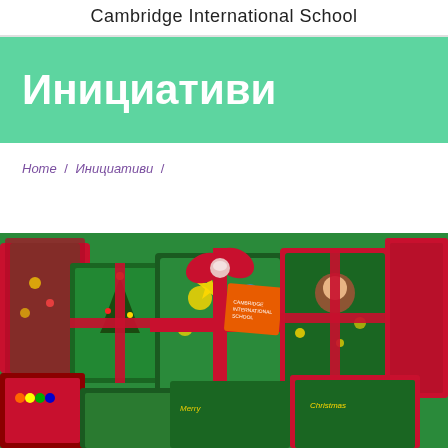Cambridge International School
Инициативи
Home / Инициативи /
[Figure (photo): Christmas gift bags and wrapped presents with red ribbons and holiday decorations, colorful Christmas-themed packaging with Santa and ornament designs]